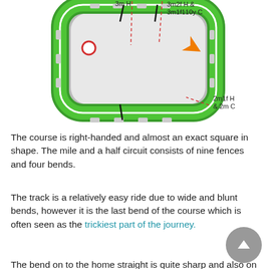[Figure (illustration): Isometric diagram of a right-handed square horse racing course with green track, grey barriers, fences marked by black lines, an orange arrow indicating direction of travel, a red circle marker on the left side, and dashed red lines with distance labels: '3m H' and '3m2f H & 3m1f110y C' at the top, '2m1f H & 2m C' at the bottom right.]
The course is right-handed and almost an exact square in shape. The mile and a half circuit consists of nine fences and four bends.
The track is a relatively easy ride due to wide and blunt bends, however it is the last bend of the course which is often seen as the trickiest part of the journey.
The bend on to the home straight is quite sharp and also on falling ground, which means if forced very wide on the track or tight to the bend then the horses can lose a lot of momentum; Being a winter track, the surface can often be heavy and sluggish, which often makes the final bend more difficult than usual.